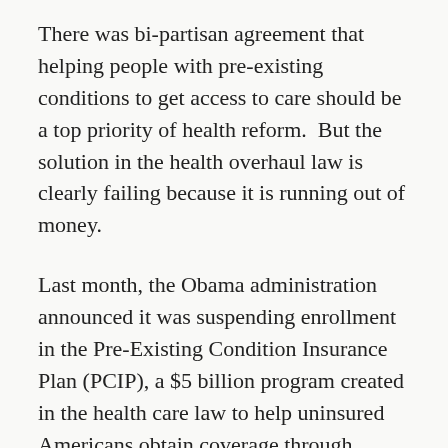There was bi-partisan agreement that helping people with pre-existing conditions to get access to care should be a top priority of health reform.  But the solution in the health overhaul law is clearly failing because it is running out of money.
Last month, the Obama administration announced it was suspending enrollment in the Pre-Existing Condition Insurance Plan (PCIP), a $5 billion program created in the health care law to help uninsured Americans obtain coverage through January 2014.
It is clear that other solutions are needed.  An estimated 4,000 people are enrolling in the program every month.  That means that an estimated 48,000 people needing coverage...